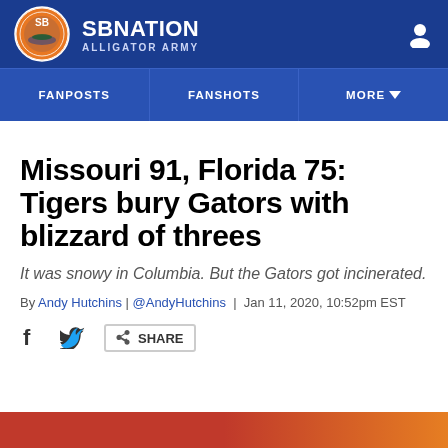SB NATION — ALLIGATOR ARMY
FANPOSTS | FANSHOTS | MORE
Missouri 91, Florida 75: Tigers bury Gators with blizzard of threes
It was snowy in Columbia. But the Gators got incinerated.
By Andy Hutchins | @AndyHutchins | Jan 11, 2020, 10:52pm EST